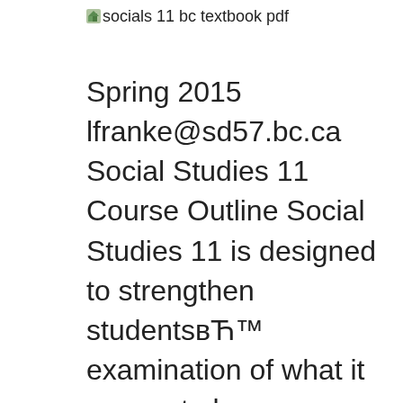socials 11 bc textbook pdf
Spring 2015 lfranke@sd57.bc.ca Social Studies 11 Course Outline Social Studies 11 is designed to strengthen studentsвЋ™ examination of what it means to be a Canadian citizen. In this course students examine the development of Canada over the course of the twentieth century, with particular attention to CanadaвЋ™s role in World Wars I and II, The Great Depression in Canada, CanadaвЋ™s (Note: The BC Grade Collections recommend the 1998 edition, which is no longer published) Emphasizing the connections between molecular change, evolution, and